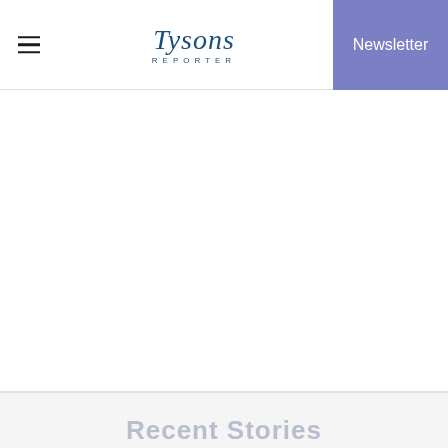Tysons Reporter — Newsletter
Recent Stories